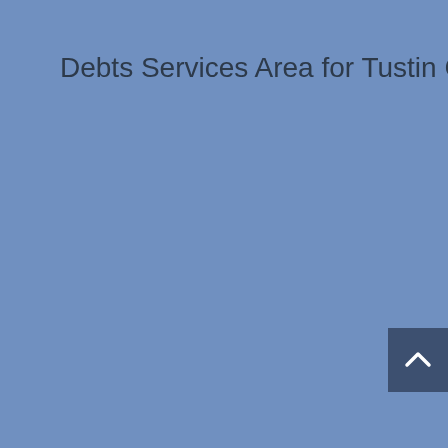Debts Services Area for Tustin CA